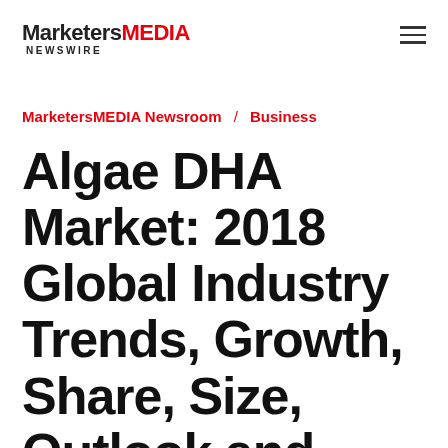MarketersMEDIA NEWSWIRE
MarketersMEDIA Newsroom / Business
Algae DHA Market: 2018 Global Industry Trends, Growth, Share, Size, Outlook and